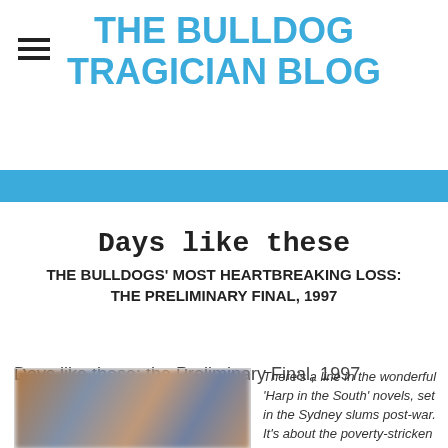THE BULLDOG TRAGICIAN BLOG
Days like these
THE BULLDOGS' MOST HEARTBREAKING LOSS: THE PRELIMINARY FINAL, 1997
Days like these: the Preliminary Final, 1997
[Figure (photo): Blurred crowd photo from a football match]
There's a line in the wonderful 'Harp in the South' novels, set in the Sydney slums post-war. It's about the poverty-stricken